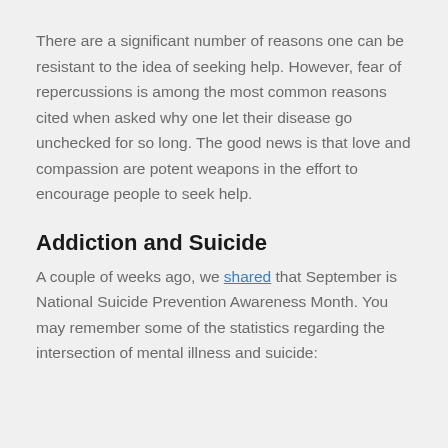There are a significant number of reasons one can be resistant to the idea of seeking help. However, fear of repercussions is among the most common reasons cited when asked why one let their disease go unchecked for so long. The good news is that love and compassion are potent weapons in the effort to encourage people to seek help.
Addiction and Suicide
A couple of weeks ago, we shared that September is National Suicide Prevention Awareness Month. You may remember some of the statistics regarding the intersection of mental illness and suicide: